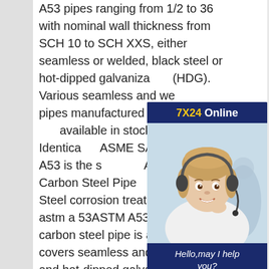A53 pipes ranging from 1/2 to 36 with nominal wall thickness from SCH 10 to SCH XXS, either seamless or welded, black steel or hot-dipped galvanized (HDG). Various seamless and welded pipes manufactured to ASTM A53 available in stock. Scope. Identical ASME SA-53, ASTM A53 is the s... ASTM S/A 53 Carbon Steel Pipe A53 Carbon Steel corrosion treat... steel pipes astm a 53ASTM A53 (...SA53) carbon steel pipe is a spec... that covers seamless and welded black and hot-dipped galvanized steel pipe in NPS 1/8 to NPS 26. A 53 is intended for pressure and mechanical applications and is also acceptable for ordinary uses in steam, water, gas, and air lines. A53 pipe comes in three types (F, E, S) and ty...
[Figure (other): 7X24 Online customer service chat widget with a photo of a woman wearing a headset, text 'Hello,may I help you?' and a 'Get Latest Price' button]